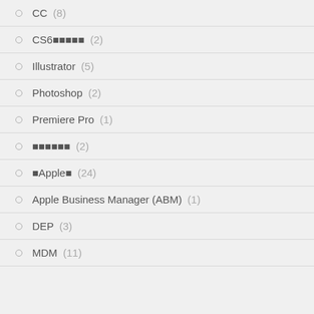CC (8)
CS6■■■■■ (2)
Illustrator (5)
Photoshop (2)
Premiere Pro (1)
■■■■■■ (2)
■Apple■ (24)
Apple Business Manager (ABM) (1)
DEP (3)
MDM (11)